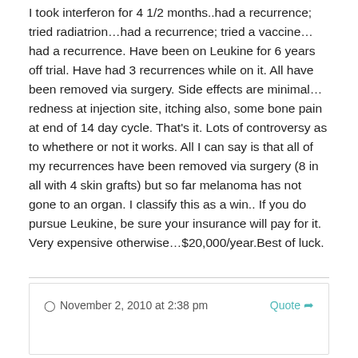I took interferon for 4 1/2 months..had a recurrence; tried radiatrion...had a recurrence; tried a vaccine...had a recurrence. Have been on Leukine for 6 years off trial. Have had 3 recurrences while on it. All have been removed via surgery. Side effects are minimal...redness at injection site, itching also, some bone pain at end of 14 day cycle. That's it. Lots of controversy as to whethere or not it works. All I can say is that all of my recurrences have been removed via surgery (8 in all with 4 skin grafts) but so far melanoma has not gone to an organ. I classify this as a win.. If you do pursue Leukine, be sure your insurance will pay for it. Very expensive otherwise...$20,000/year.Best of luck.
November 2, 2010 at 2:38 pm   Quote